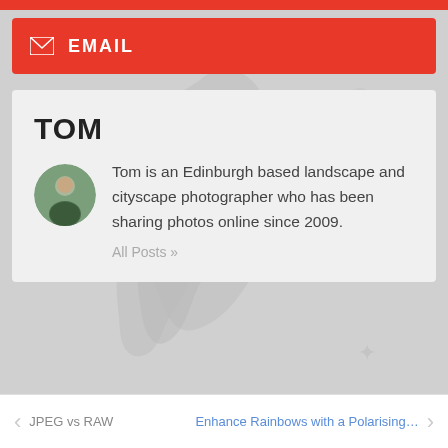EMAIL
TOM
Tom is an Edinburgh based landscape and cityscape photographer who has been sharing photos online since 2009.
All Posts »
JPEG vs RAW   Enhance Rainbows with a Polarising…